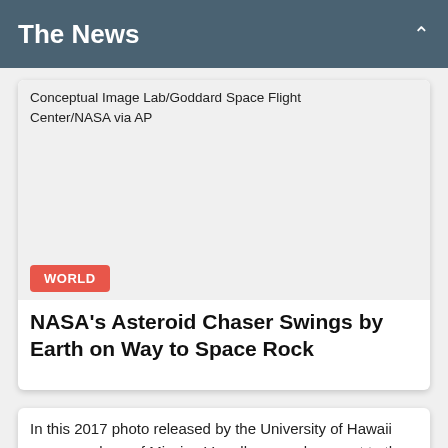The News
Conceptual Image Lab/Goddard Space Flight Center/NASA via AP
WORLD
NASA's Asteroid Chaser Swings by Earth on Way to Space Rock
In this 2017 photo released by the University of Hawaii crew members of Mission V, walk across lava next to the university's facility Hawaii Space Exploration Analog and Simulation (HI-SEAS) at the Mauna Loa volcano, Big Island, Hawaii,University of Hawaii/AP